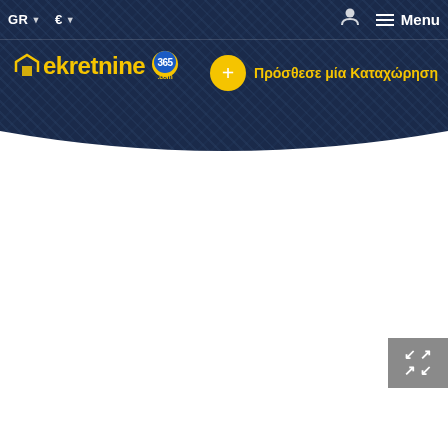[Figure (screenshot): Website header with aerial city photo background, dark blue overlay. Navigation bar with GR and € language/currency selectors on left, user icon and Menu on right. nekretnine365.com logo in yellow on left. Yellow plus button with Greek text 'Πρόσθεσε μία Καταχώρηση' (Add a Listing) on right.]
Collapse button with double arrows in gray box, bottom right